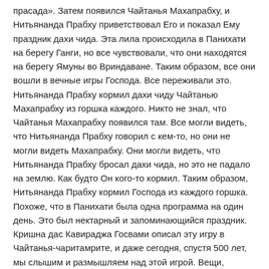прасада». Затем появился Чайтанья Махапрабху, и Нитьянанда Прабху приветствовал Его и показал Ему праздник дахи чида. Эта лила происходила в Панихати на берегу Ганги, но все чувствовали, что они находятся на берегу Ямуны во Вриндаване. Таким образом, все они вошли в вечные игры Господа. Все переживали это. Нитьянанда Прабху кормил дахи чиду Чайтанью Махапрабху из горшка каждого. Никто не знал, что Чайтанья Махапрабху появился там. Все могли видеть, что Нитьянанда Прабху говорил с кем-то, но они не могли видеть Махапрабху. Они могли видеть, что Нитьянанда Прабху бросал дахи чида, но это не падало на землю. Как будто Он кого-то кормил. Таким образом, Нитьянанда Прабху кормил Господа из каждого горшка. Похоже, что в Панихати была одна программа на один день. Это был нектарный и запоминающийся праздник. Кришна дас Кавираджа Госвами описал эту игру в Чайтанья-чаритамрите, и даже сегодня, спустя 500 лет, мы слышим и размышляем над этой игрой. Вещи, которые являются новыми, называют новостями. Эта лила было новой в тот день, год спустя, а также новая сегодня. Игры Господа - это пуранам апи навам, пураны, шастры, бхагават и чайтанья-чаритамрита катха никогда не стареют. Его игры всегда новые и вечные. Сегодня также проходят Его игры. Чайтанья Махапрабху, Нитьянанда Прабху, Рагхунатха Дас Госвами, Рагхава Пандит, Его место, все там, и у нас есть его даршан. Шраванам ведет к